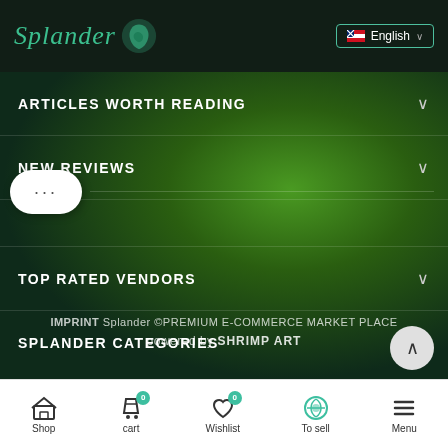Splander — English language selector
ARTICLES WORTH READING
NEW REVIEWS
[Figure (other): Ellipsis chat bubble with three dots]
TOP RATED VENDORS
SPLANDER CATEGORIES
IMPRINT Splander ©PREMIUM E-COMMERCE MARKET PLACE
powered by SHRIMP ART
Shop | cart 0 | Wishlist 0 | To sell | Menu